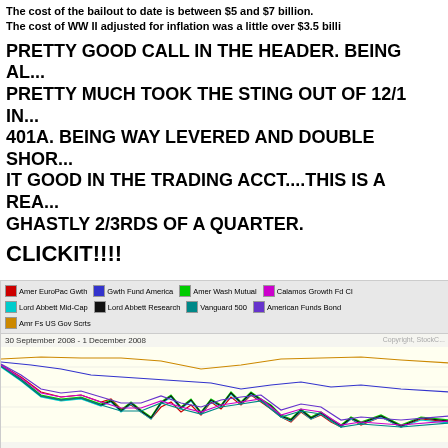The cost of the bailout to date is between $5 and $7 billion. The cost of WW II adjusted for inflation was a little over $3.5 billi...
PRETTY GOOD CALL IN THE HEADER. BEING AL... PRETTY MUCH TOOK THE STING OUT OF 12/1 IN... 401A. BEING WAY LEVERED AND DOUBLE SHOR... IT GOOD IN THE TRADING ACCT....THIS IS A REA... GHASTLY 2/3RDS OF A QUARTER.
CLICKIT!!!!
[Figure (line-chart): Multi-line chart showing performance of various mutual funds including Amer EuroPac Gwth, Gwth Fund America, Amer Wash Mutual, Calamos Growth Fd Cl, Lord Abbett Mid-Cap, Lord Abbett Research, Vanguard 500, American Funds Bond, Amr Fs US Gov Scrts from 30 September 2008 to 1 December 2008. Most funds show decline with volatile patterns.]